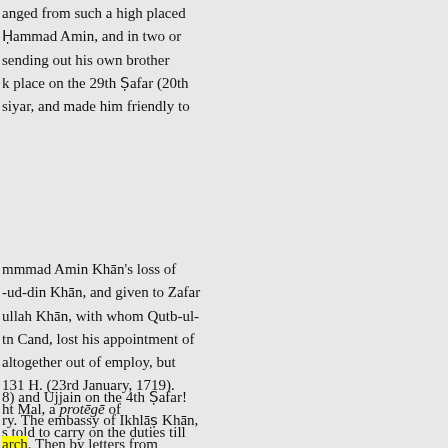anged from such a high placed Ḥammad Amin, and in two or sending out his own brother k place on the 29th Ṣafar (20th siyar, and made him friendly to
mmmad Amin Khān's loss of -ud-din Khān, and given to Zafar ullah Khān, with whom Qutb-ul- tn Cand, lost his appointment of altogether out of employ, but 131 H. (23rd January, 1719). ht Mal, a protēgē of s told to carry on the duties till
8) and Ujjain on the 4th Ṣafar! ry. The embassy of Ikhlāṣ Khān, arch. Then by letters from